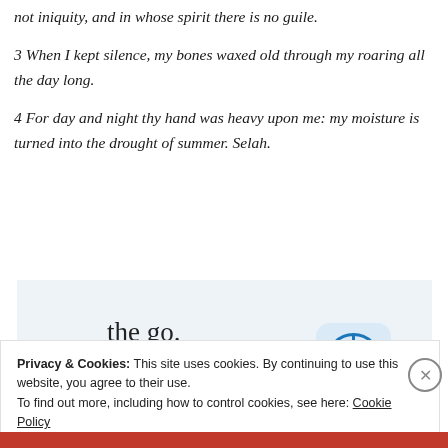not iniquity, and in whose spirit there is no guile.
3 When I kept silence, my bones waxed old through my roaring all the day long.
4 For day and night thy hand was heavy upon me: my moisture is turned into the drought of summer. Selah.
[Figure (infographic): Advertisement banner with text 'the go.' and 'GET THE APP' with WordPress logo icon]
Privacy & Cookies: This site uses cookies. By continuing to use this website, you agree to their use.
To find out more, including how to control cookies, see here: Cookie Policy
Close and accept